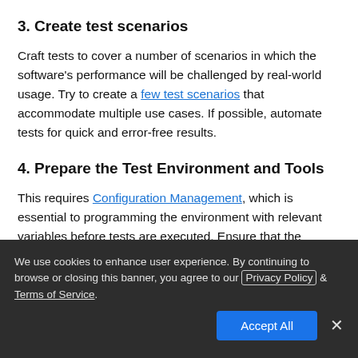3. Create test scenarios
Craft tests to cover a number of scenarios in which the software's performance will be challenged by real-world usage. Try to create a few test scenarios that accommodate multiple use cases. If possible, automate tests for quick and error-free results.
4. Prepare the Test Environment and Tools
This requires Configuration Management, which is essential to programming the environment with relevant variables before tests are executed. Ensure that the testers have all necessary
We use cookies to enhance user experience. By continuing to browse or closing this banner, you agree to our Privacy Policy & Terms of Service.